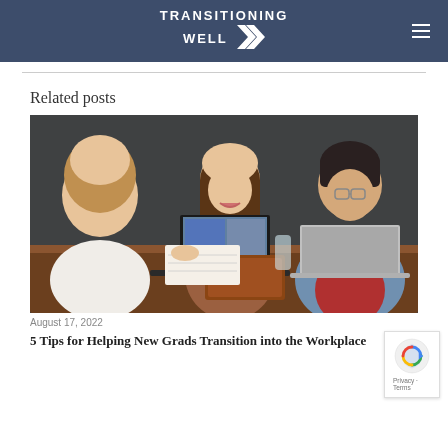TRANSITIONING WELL
Related posts
[Figure (photo): Three young people sitting at a wooden table with laptops, smiling and laughing together in a cafe or office setting with a dark wall background.]
August 17, 2022
5 Tips for Helping New Grads Transition into the Workplace